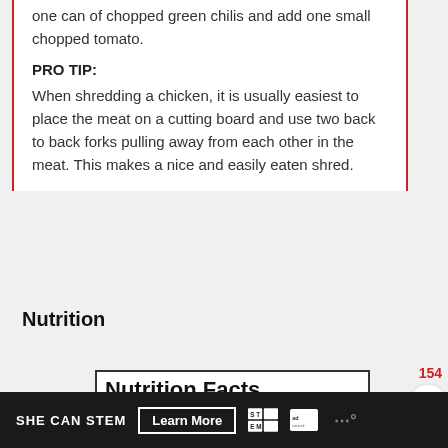one can of chopped green chilis and add one small chopped tomato.
PRO TIP:
When shredding a chicken, it is usually easiest to place the meat on a cutting board and use two back to back forks pulling away from each other in the meat. This makes a nice and easily eaten shred.
Nutrition
| Nutrition Facts |  |
| --- | --- |
| White Trash Chicken Sliders |  |
| Amount Per Serving |  |
| Calories 164 | Calories from Fat 81 |
|  | % Daily Value* |
| Fat 9g | 14% |
SHE CAN STEM  Learn More